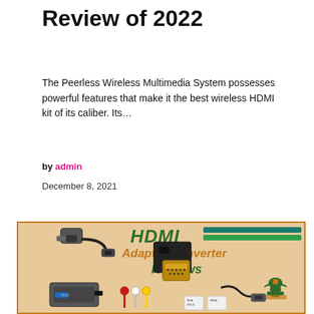Review of 2022
The Peerless Wireless Multimedia System possesses powerful features that make it the best wireless HDMI kit of its caliber. Its…
by admin
December 8, 2021
[Figure (photo): HDMI Adapter/Converter Reviews promotional image showing various HDMI adapters and converters on a tan background with orange border]